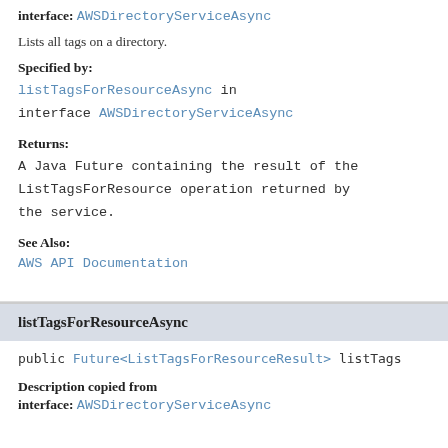interface: AWSDirectoryServiceAsync
Lists all tags on a directory.
Specified by:
listTagsForResourceAsync in interface AWSDirectoryServiceAsync
Returns:
A Java Future containing the result of the ListTagsForResource operation returned by the service.
See Also:
AWS API Documentation
listTagsForResourceAsync
public Future<ListTagsForResourceResult> listTags
Description copied from
interface: AWSDirectoryServiceAsync